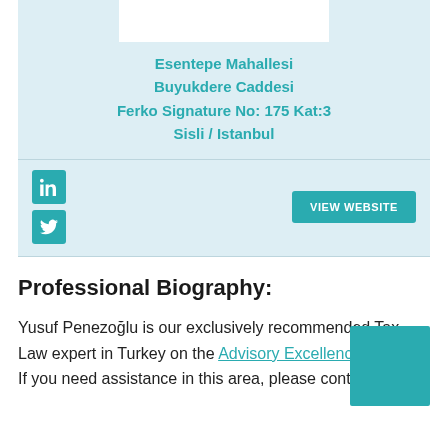Esentepe Mahallesi Buyukdere Caddesi Ferko Signature No: 175 Kat:3 Sisli / Istanbul
[Figure (logo): LinkedIn icon button (teal square with 'in' white text)]
[Figure (logo): Twitter/X icon button (teal square with bird white icon)]
VIEW WEBSITE
Professional Biography:
Yusuf Penezoğlu is our exclusively recommended Tax Law expert in Turkey on the Advisory Excellence website. If you need assistance in this area, please contact Yusuf